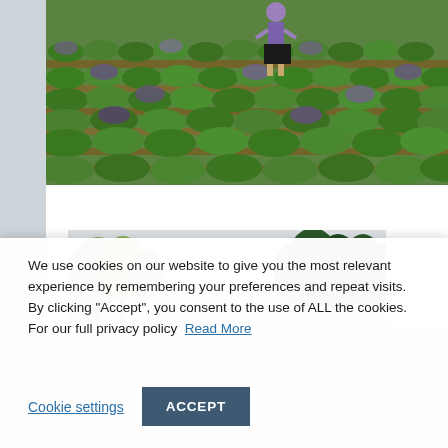[Figure (photo): Aerial/ground view of a lavender field with a person standing among rows of green and purple lavender shrubs on reddish-brown soil]
[Figure (photo): Panoramic photo of a wooded landscape with green trees on a hazy/overcast day]
We use cookies on our website to give you the most relevant experience by remembering your preferences and repeat visits. By clicking "Accept", you consent to the use of ALL the cookies. For our full privacy policy  Read More
Cookie settings
ACCEPT